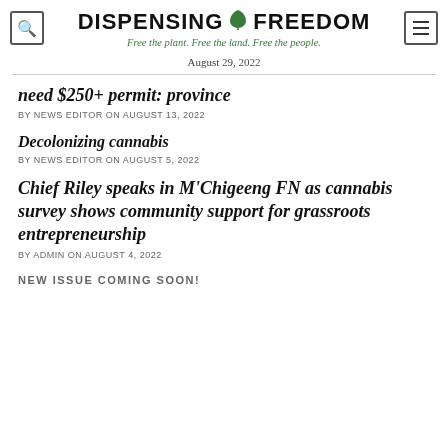DISPENSING ✿ FREEDOM — Free the plant. Free the land. Free the people.
August 29, 2022
need $250+ permit: province
BY NEWS EDITOR ON AUGUST 13, 2022
Decolonizing cannabis
BY NEWS EDITOR ON AUGUST 5, 2022
Chief Riley speaks in M'Chigeeng FN as cannabis survey shows community support for grassroots entrepreneurship
BY ADMIN ON AUGUST 4, 2022
NEW ISSUE COMING SOON!